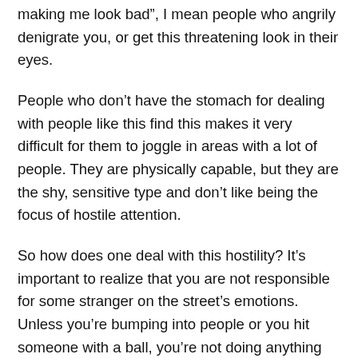making me look bad", I mean people who angrily denigrate you, or get this threatening look in their eyes.
People who don't have the stomach for dealing with people like this find this makes it very difficult for them to joggle in areas with a lot of people. They are physically capable, but they are the shy, sensitive type and don't like being the focus of hostile attention.
So how does one deal with this hostility? It's important to realize that you are not responsible for some stranger on the street's emotions. Unless you're bumping into people or you hit someone with a ball, you're not doing anything potentially harmful to anyone. Besides this, there are a lot of people out there who get angry over nothing. I even think some people may be addicted to their anger, and need to find something to get angry about. Some of these